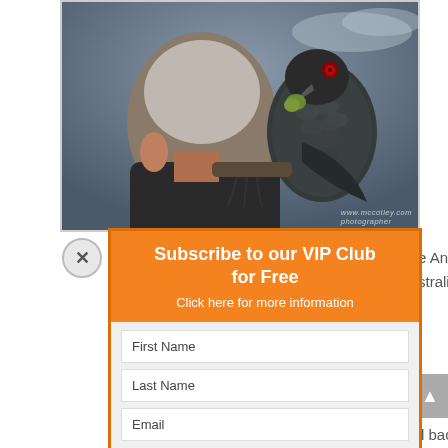[Figure (photo): A man viewed from behind with a black cockatoo (bird) perched near his shoulder, appearing to feed from his hand or near his face. The bird is a large dark parrot with scaled feather pattern. Background is overcast sky.]
[Figure (screenshot): A popup subscription form overlay on a webpage. Orange header reads 'Subscribe to our VIP Club for Free' with subtitle 'Click here for more information'. Below is a light gray form with First Name, Last Name, Email fields, an orange SUBSCRIBE! button, and privacy text: 'Privacy: We will never pass on your details to any third party'. A close (X) button is visible top-left.]
re Animal Rescue, stralia
& Kaarakin Black re receive injured d back into the bilitation have the best ting these se to birds that